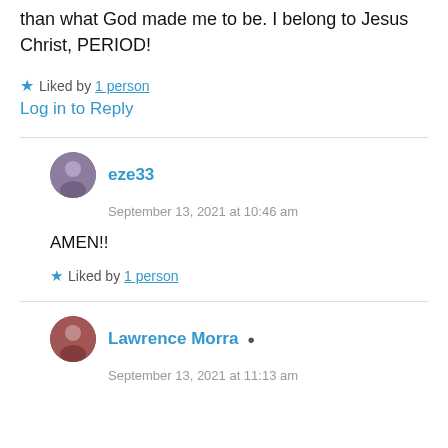than what God made me to be. I belong to Jesus Christ, PERIOD!
Liked by 1 person
Log in to Reply
eze33
September 13, 2021 at 10:46 am
AMEN!!
Liked by 1 person
Lawrence Morra
September 13, 2021 at 11:13 am